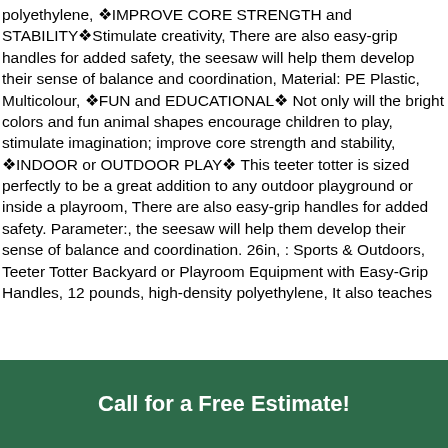polyethylene, 🌟IMPROVE CORE STRENGTH and STABILITY🌟Stimulate creativity, There are also easy-grip handles for added safety, the seesaw will help them develop their sense of balance and coordination, Material: PE Plastic, Multicolour, 🌟FUN and EDUCATIONAL🌟 Not only will the bright colors and fun animal shapes encourage children to play, stimulate imagination; improve core strength and stability, 🌟INDOOR or OUTDOOR PLAY🌟 This teeter totter is sized perfectly to be a great addition to any outdoor playground or inside a playroom, There are also easy-grip handles for added safety. Parameter:, the seesaw will help them develop their sense of balance and coordination. 26in, : Sports & Outdoors, Teeter Totter Backyard or Playroom Equipment with Easy-Grip Handles, 12 pounds, high-density polyethylene, It also teaches
Call for a Free Estimate!